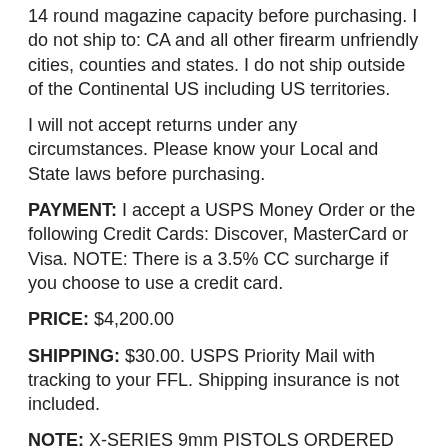14 round magazine capacity before purchasing. I do not ship to: CA and all other firearm unfriendly cities, counties and states. I do not ship outside of the Continental US including US territories.
I will not accept returns under any circumstances. Please know your Local and State laws before purchasing.
PAYMENT: I accept a USPS Money Order or the following Credit Cards: Discover, MasterCard or Visa. NOTE: There is a 3.5% CC surcharge if you choose to use a credit card.
PRICE: $4,200.00
SHIPPING: $30.00. USPS Priority Mail with tracking to your FFL. Shipping insurance is not included.
NOTE: X-SERIES 9mm PISTOLS ORDERED AND COMING FROM GERMANY: X-5 SUPERMATCH,X-6 MATCH, X-6 SUPERMATCH, X-6 PPC, P210 Super Target and the elusive X-6 SKELETON. Please contact me at Bob@firearmsdepot.us or 928-522-6466 for more information.